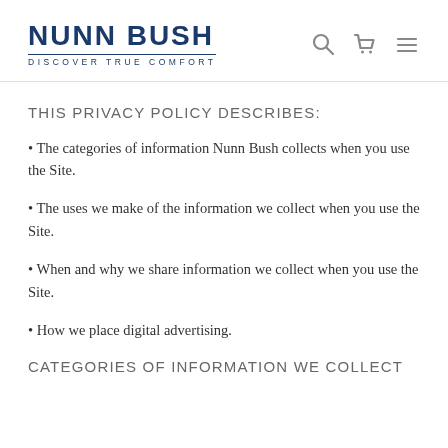NUNN BUSH DISCOVER TRUE COMFORT
THIS PRIVACY POLICY DESCRIBES:
The categories of information Nunn Bush collects when you use the Site.
The uses we make of the information we collect when you use the Site.
When and why we share information we collect when you use the Site.
How we place digital advertising.
CATEGORIES OF INFORMATION WE COLLECT